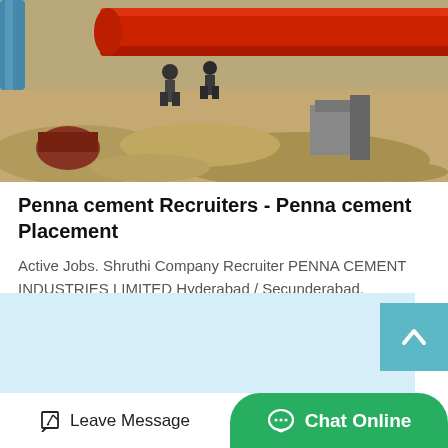[Figure (photo): Construction site photo showing workers and large red industrial pipes/machinery amid dirt and rubble]
Penna cement Recruiters - Penna cement Placement
Active Jobs. Shruthi Company Recruiter PENNA CEMENT INDUSTRIES LIMITED Hyderabad / Secunderabad. Skills/Roles I hire for : Not Specified. 1 active jobs | Last active on 29-Oct-2018…
Get Price
[Figure (screenshot): Light blue content area below the card, partially visible]
Leave Message
Chat Online